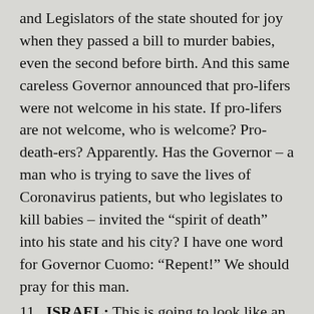and Legislators of the state shouted for joy when they passed a bill to murder babies, even the second before birth. And this same careless Governor announced that pro-lifers were not welcome in his state. If pro-lifers are not welcome, who is welcome? Pro-death-ers? Apparently. Has the Governor – a man who is trying to save the lives of Coronavirus patients, but who legislates to kill babies – invited the “spirit of death” into his state and his city? I have one word for Governor Cuomo: “Repent!” We should pray for this man.
ISRAEL: This is going to look like an outlier. Some will say, “Why did Jim insert ‘Israel’ into this list?” The discerning will know. The Holy Spirit can show the others. Allow the Bible to speak for itself: “For behold, in those days and